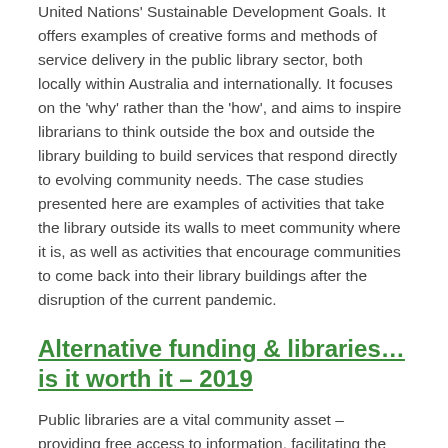United Nations' Sustainable Development Goals. It offers examples of creative forms and methods of service delivery in the public library sector, both locally within Australia and internationally. It focuses on the 'why' rather than the 'how', and aims to inspire librarians to think outside the box and outside the library building to build services that respond directly to evolving community needs. The case studies presented here are examples of activities that take the library outside its walls to meet community where it is, as well as activities that encourage communities to come back into their library buildings after the disruption of the current pandemic.
Alternative funding & libraries…is it worth it – 2019
Public libraries are a vital community asset – providing free access to information, facilitating the development of twenty-first century literacy skills, and supporting social